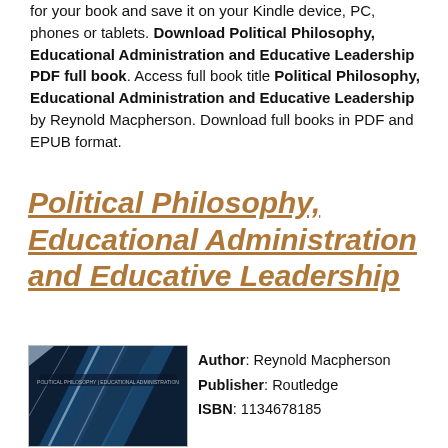for your book and save it on your Kindle device, PC, phones or tablets. Download Political Philosophy, Educational Administration and Educative Leadership PDF full book. Access full book title Political Philosophy, Educational Administration and Educative Leadership by Reynold Macpherson. Download full books in PDF and EPUB format.
Political Philosophy, Educational Administration and Educative Leadership
[Figure (illustration): Book cover of Political Philosophy, Educational Administration and Educative Leadership showing abstract blue and white design with diagonal streaks]
Author: Reynold Macpherson
Publisher: Routledge
ISBN: 1134678185